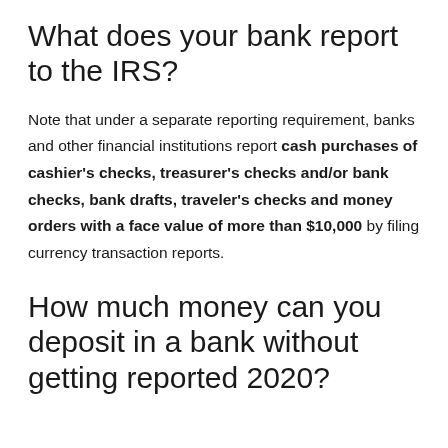What does your bank report to the IRS?
Note that under a separate reporting requirement, banks and other financial institutions report cash purchases of cashier’s checks, treasurer’s checks and/or bank checks, bank drafts, traveler’s checks and money orders with a face value of more than $10,000 by filing currency transaction reports.
How much money can you deposit in a bank without getting reported 2020?